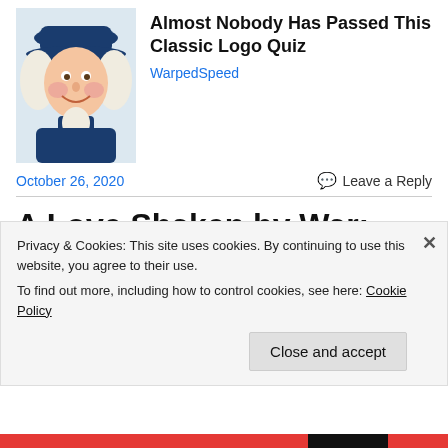[Figure (illustration): Quaker Oats man illustration - a colonial-era man with white wig and blue hat, smiling]
Almost Nobody Has Passed This Classic Logo Quiz
WarpedSpeed
October 26, 2020
Leave a Reply
A Love Shaken by War: Becky Warren returns to music with a solo record that tells a fictional
Privacy & Cookies: This site uses cookies. By continuing to use this website, you agree to their use.
To find out more, including how to control cookies, see here: Cookie Policy
Close and accept